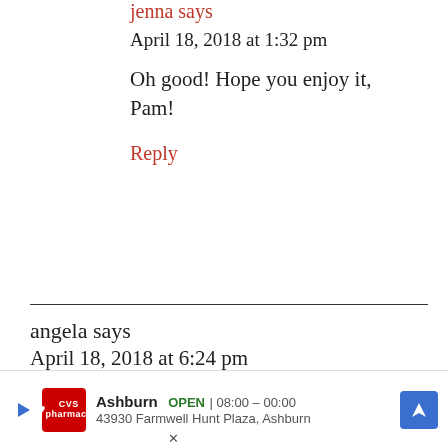jenna says
April 18, 2018 at 1:32 pm
Oh good! Hope you enjoy it, Pam!
Reply
angela says
April 18, 2018 at 6:24 pm
jenna, i love this song because it is a gresat song and because i can
[Figure (other): CVS Pharmacy advertisement banner showing Ashburn location, OPEN 08:00-00:00, address 43930 Farmwell Hunt Plaza, Ashburn, with navigation arrow icon]